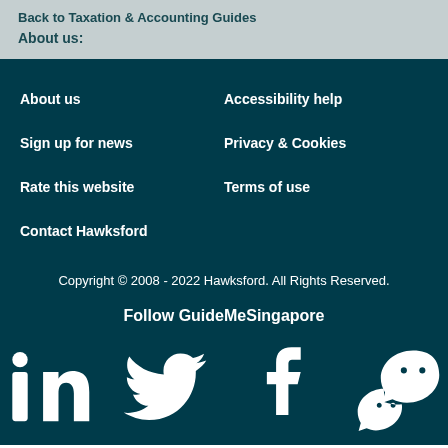Back to Taxation & Accounting Guides
About us:
About us
Accessibility help
Sign up for news
Privacy & Cookies
Rate this website
Terms of use
Contact Hawksford
Copyright © 2008 - 2022 Hawksford. All Rights Reserved.
Follow GuideMeSingapore
[Figure (illustration): Social media icons: LinkedIn, Twitter, Facebook, WeChat]